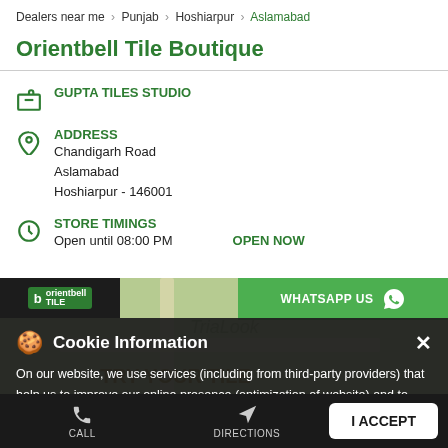Dealers near me > Punjab > Hoshiarpur > Aslamabad
Orientbell Tile Boutique
GUPTA TILES STUDIO
ADDRESS
Chandigarh Road
Aslamabad
Hoshiarpur - 146001
STORE TIMINGS
Open until 08:00 PM    OPEN NOW
[Figure (screenshot): Map area showing Orientbell Tile Boutique location with logo bar and WhatsApp Us button overlay]
Cookie Information

On our website, we use services (including from third-party providers) that help us to improve our online presence (optimization of website) and to display content that is geared to their interests. We need your consent before being able to use these services.
I ACCEPT
CALL    DIRECTIONS